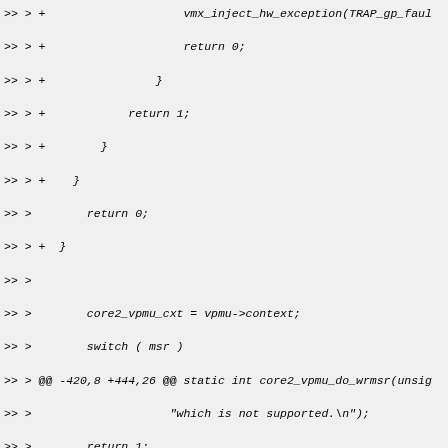Diff/patch code block showing changes to core2_vpmu_do_wrmsr function including vmx_inject_hw_exception, return statements, MSR_IA32_DS_AREA case handling, vpmu_is_set check, and gdprintk warning calls.